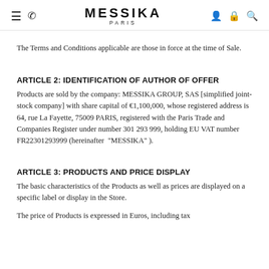MESSIKA PARIS
The Terms and Conditions applicable are those in force at the time of Sale.
ARTICLE 2: IDENTIFICATION OF AUTHOR OF OFFER
Products are sold by the company: MESSIKA GROUP, SAS [simplified joint-stock company] with share capital of €1,100,000, whose registered address is 64, rue La Fayette, 75009 PARIS, registered with the Paris Trade and Companies Register under number 301 293 999, holding EU VAT number FR22301293999 (hereinafter “MESSIKA”).
ARTICLE 3: PRODUCTS AND PRICE DISPLAY
The basic characteristics of the Products as well as prices are displayed on a specific label or display in the Store.
The price of Products is expressed in Euros, including tax